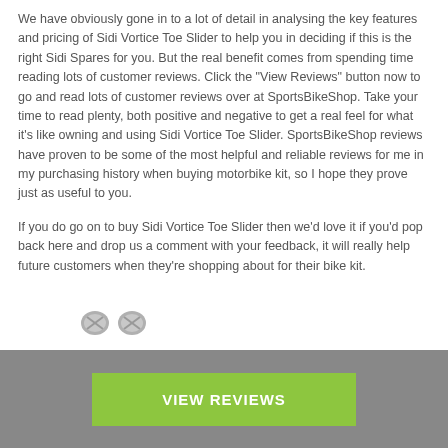We have obviously gone in to a lot of detail in analysing the key features and pricing of Sidi Vortice Toe Slider to help you in deciding if this is the right Sidi Spares for you. But the real benefit comes from spending time reading lots of customer reviews. Click the "View Reviews" button now to go and read lots of customer reviews over at SportsBikeShop. Take your time to read plenty, both positive and negative to get a real feel for what it's like owning and using Sidi Vortice Toe Slider. SportsBikeShop reviews have proven to be some of the most helpful and reliable reviews for me in my purchasing history when buying motorbike kit, so I hope they prove just as useful to you.
If you do go on to buy Sidi Vortice Toe Slider then we'd love it if you'd pop back here and drop us a comment with your feedback, it will really help future customers when they're shopping about for their bike kit.
[Figure (photo): Product photo of Sidi Vortice Toe Slider - showing two small screws above a white toe slider/sole piece with red accent elements and oval cutouts]
VIEW REVIEWS